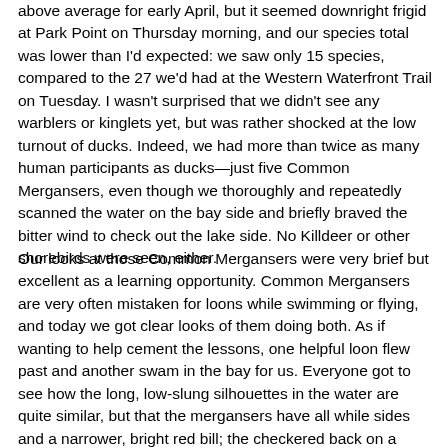above average for early April, but it seemed downright frigid at Park Point on Thursday morning, and our species total was lower than I'd expected: we saw only 15 species, compared to the 27 we'd had at the Western Waterfront Trail on Tuesday. I wasn't surprised that we didn't see any warblers or kinglets yet, but was rather shocked at the low turnout of ducks. Indeed, we had more than twice as many human participants as ducks—just five Common Mergansers, even though we thoroughly and repeatedly scanned the water on the bay side and briefly braved the bitter wind to check out the lake side. No Killdeer or other shorebirds were seen, either.
Our looks at those Common Mergansers were very brief but excellent as a learning opportunity. Common Mergansers are very often mistaken for loons while swimming or flying, and today we got clear looks of them doing both. As if wanting to help cement the lessons, one helpful loon flew past and another swam in the bay for us. Everyone got to see how the long, low-slung silhouettes in the water are quite similar, but that the mergansers have all while sides and a narrower, bright red bill; the checkered back on a swimming loon